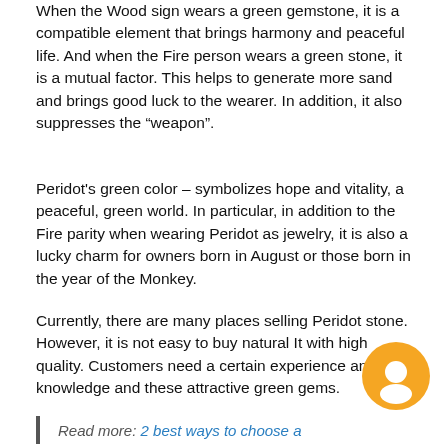When the Wood sign wears a green gemstone, it is a compatible element that brings harmony and peaceful life. And when the Fire person wears a green stone, it is a mutual factor. This helps to generate more sand and brings good luck to the wearer. In addition, it also suppresses the “weapon”.
Peridot's green color – symbolizes hope and vitality, a peaceful, green world. In particular, in addition to the Fire parity when wearing Peridot as jewelry, it is also a lucky charm for owners born in August or those born in the year of the Monkey.
Currently, there are many places selling Peridot stone. However, it is not easy to buy natural It with high quality. Customers need a certain experience and knowledge and these attractive green gems.
Read more: 2 best ways to choose a